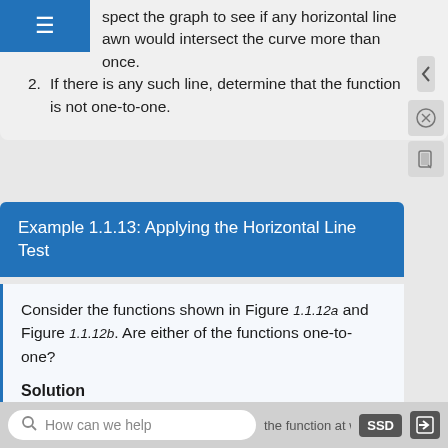1. Inspect the graph to see if any horizontal line drawn would intersect the curve more than once.
2. If there is any such line, determine that the function is not one-to-one.
Example 1.1.13: Applying the Horizontal Line Test
Consider the functions shown in Figure 1.1.12a and Figure 1.1.12b. Are either of the functions one-to-one?
Solution
The function in Figure 1.1.12a is not one-to-one.
How can we help   ...shown in Figure 1.1.12... the function at we no...